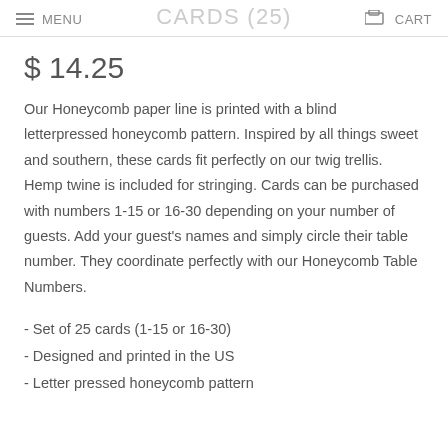MENU   CARDS (25)   CART
$ 14.25
Our Honeycomb paper line is printed with a blind letterpressed honeycomb pattern. Inspired by all things sweet and southern, these cards fit perfectly on our twig trellis. Hemp twine is included for stringing. Cards can be purchased with numbers 1-15 or 16-30 depending on your number of guests. Add your guest's names and simply circle their table number. They coordinate perfectly with our Honeycomb Table Numbers.
- Set of 25 cards (1-15 or 16-30)
- Designed and printed in the US
- Letter pressed honeycomb pattern